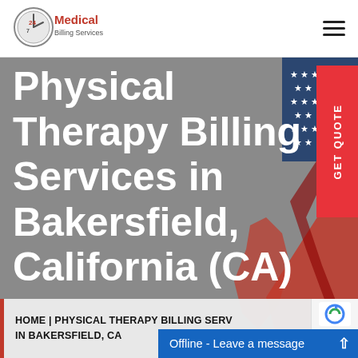[Figure (logo): 24/7 Medical Billing Services logo with clock icon and red/blue text]
[Figure (other): Hamburger menu icon (three horizontal lines) in top right corner]
Physical Therapy Billing Services in Bakersfield, California (CA)
[Figure (illustration): GET QUOTE vertical red button on right side]
[Figure (photo): US flag and California state partial illustration on the right side of hero]
HOME | PHYSICAL THERAPY BILLING SERV... IN BAKERSFIELD, CA...
Offline - Leave a message